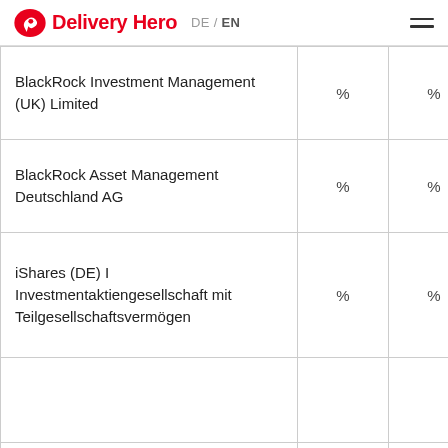Delivery Hero DE / EN
| Name | % | % |
| --- | --- | --- |
| BlackRock Investment Management (UK) Limited | % | % |
| BlackRock Asset Management Deutschland AG | % | % |
| iShares (DE) I Investmentaktiengesellschaft mit Teilgesellschaftsvermögen | % | % |
|  | % | % |
| BlackRock, Inc. | % | % |
| BlackRock Holdco 2, Inc. | % | % |